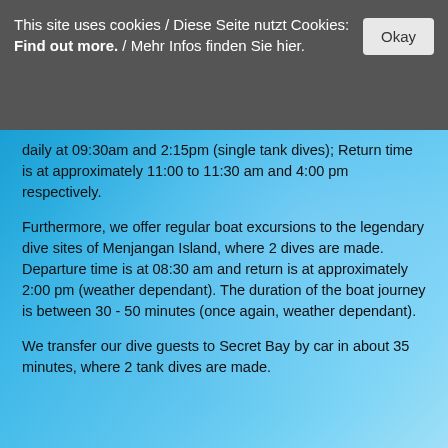This site uses cookies / Diese Seite nutzt Cookies: Find out more. / Mehr Infos finden Sie hier.
daily at 09:30am and 2:15pm (single tank dives); Return time is at approximately 11:00 to 11:30 am and 4:00 pm respectively.
Furthermore, we offer regular boat excursions to the legendary dive sites of Menjangan Island, where 2 dives are made. Departure time is at 08:30 am and return is at approximately 2:00 pm (weather dependant). The duration of the boat journey is between 30 - 50 minutes (once again, weather dependant).
We transfer our dive guests to Secret Bay by car in about 35 minutes, where 2 tank dives are made.